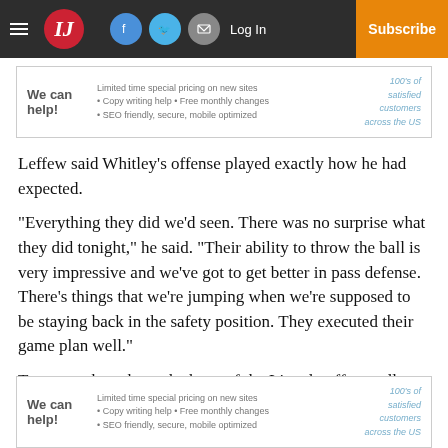IJ — Log In | Subscribe
[Figure (other): Advertisement banner: We can help! Limited time special pricing on new sites • Copy writing help • Free monthly changes • SEO friendly, secure, mobile optimized. 100's of satisfied customers across the US]
Leffew said Whitley’s offense played exactly how he had expected.
“Everything they did we’d seen. There was no surprise what they did tonight,” he said. “Their ability to throw the ball is very impressive and we’ve got to get better in pass defense. There’s things that we’re jumping when we’re supposed to be staying back in the safety position. They executed their game plan well.”
Turnovers have been the bane of the Lincoln offense all season, and the miscues came early Thursday as
[Figure (other): Advertisement banner: We can help! Limited time special pricing on new sites • Copy writing help • Free monthly changes • SEO friendly, secure, mobile optimized. 100's of satisfied customers across the US]